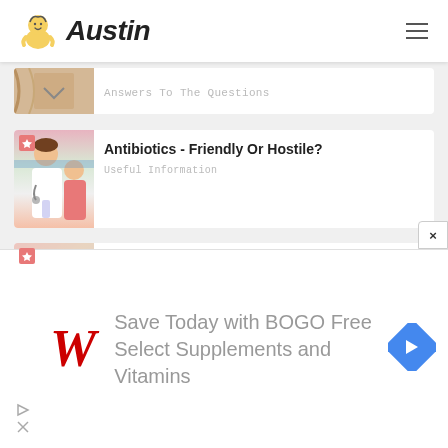Austin
[Figure (photo): Partial thumbnail image of first article, cropped]
Answers To The Questions
[Figure (photo): Doctor with child patient, pink badge with lightning bolt]
Antibiotics - Friendly Or Hostile?
Useful Information
[Figure (photo): Child with thermometer, pink badge with lightning bolt]
Influenza Law: More And More People Are Being Treated In Hospitals
Other
[Figure (infographic): Walgreens advertisement: Save Today with BOGO Free Select Supplements and Vitamins]